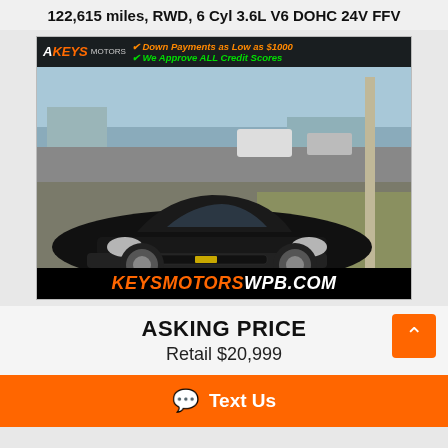122,615 miles, RWD, 6 Cyl 3.6L V6 DOHC 24V FFV
[Figure (photo): Black Chevrolet Camaro parked at Keys Motors dealership. Overlay text at top: 'Down Payments as Low as $1000' and 'We Approve ALL Credit Scores'. Bottom banner: KEYSMOTORSWPB.COM]
ASKING PRICE
Retail $20,999
Text Us